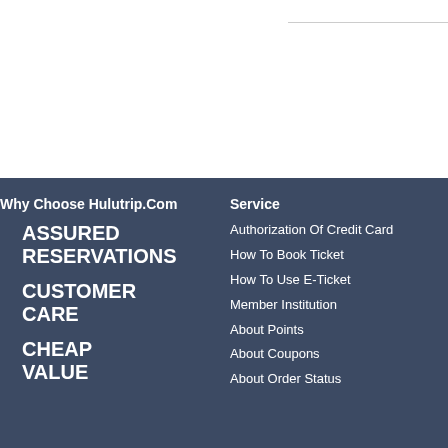Why Choose Hulutrip.Com
ASSURED RESERVATIONS
CUSTOMER CARE
CHEAP VALUE
Service
Authorization Of Credit Card
How To Book Ticket
How To Use E-Ticket
Member Institution
About Points
About Coupons
About Order Status